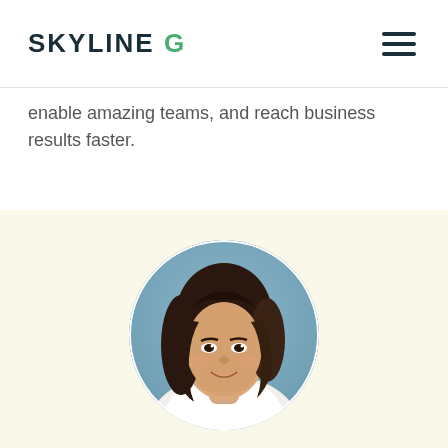SKYLINE G
enable amazing teams, and reach business results faster.
[Figure (photo): Circular headshot portrait of a smiling Asian woman with dark shoulder-length hair, wearing a white top, with a soft blue/teal blurred background, displayed on a cream-colored section background.]